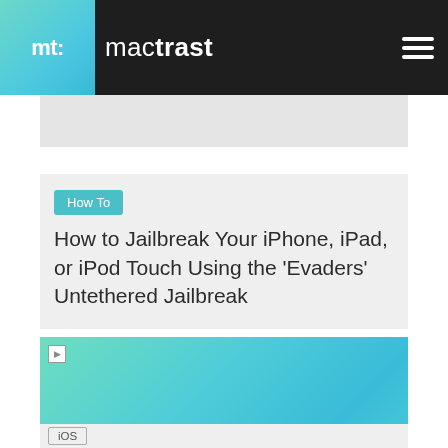mactrast
[Figure (screenshot): Gray placeholder/advertisement strip]
How To
How to Jailbreak Your iPhone, iPad, or iPod Touch Using the ‘Evaders’ Untethered Jailbreak
[Figure (photo): Featured image with teal/turquoise gradient background, broken image icon in top-left corner]
iOS